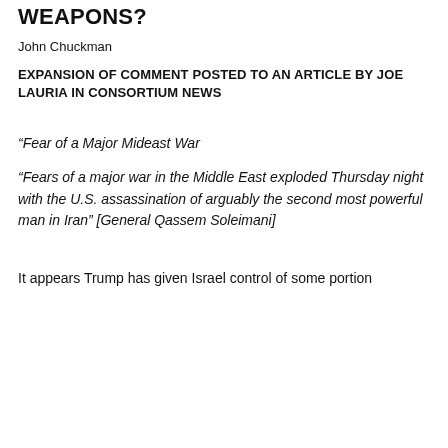WEAPONS?
John Chuckman
EXPANSION OF COMMENT POSTED TO AN ARTICLE BY JOE LAURIA IN CONSORTIUM NEWS
“Fear of a Major Mideast War
“Fears of a major war in the Middle East exploded Thursday night with the U.S. assassination of arguably the second most powerful man in Iran” [General Qassem Soleimani]
It appears Trump has given Israel control of some portion